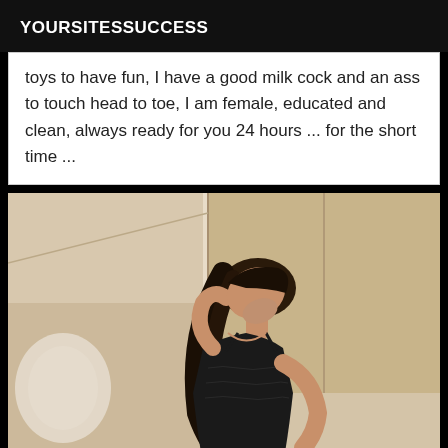YOURSITESSUCCESS
toys to have fun, I have a good milk cock and an ass to touch head to toe, I am female, educated and clean, always ready for you 24 hours ... for the short time ...
[Figure (photo): A person in a black lace dress posing indoors, head tilted back, hand on hip, photographed from below. Room has beige walls and a wardrobe door visible in background with a bright light patch on the left wall.]